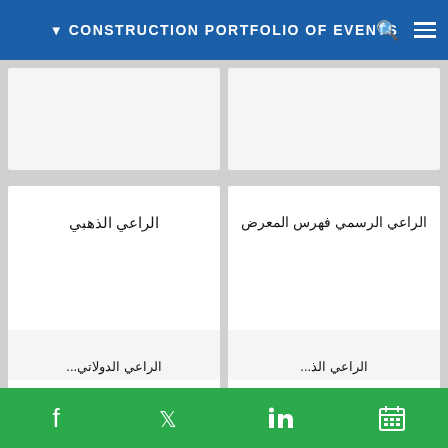CONSTRUCTION PORTFOLIO OF EVENTS
[Figure (screenshot): Website screenshot showing a grid of sponsorship category cards with Arabic text labels on a grey background. Two top partial cards, two full middle cards labeled 'الراعي الذهبي' (Golden Sponsor) and 'الراعي الرسمي فهرس المعرض' (Official Catalog Sponsor), and two bottom partial cards partially visible.]
Social media icons: Facebook, Twitter, LinkedIn, Calendar